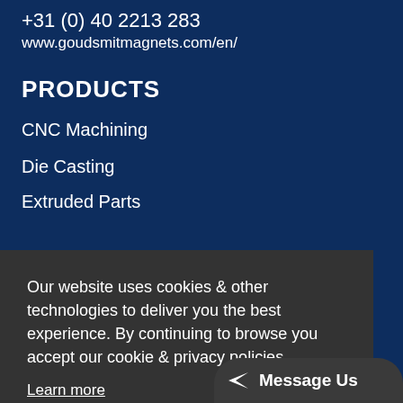+31 (0) 40 2213 283
www.goudsmitmagnets.com/en/
PRODUCTS
CNC Machining
Die Casting
Extruded Parts
Our website uses cookies & other technologies to deliver you the best experience. By continuing to browse you accept our cookie & privacy policies.
Learn more
Got it!
Message Us